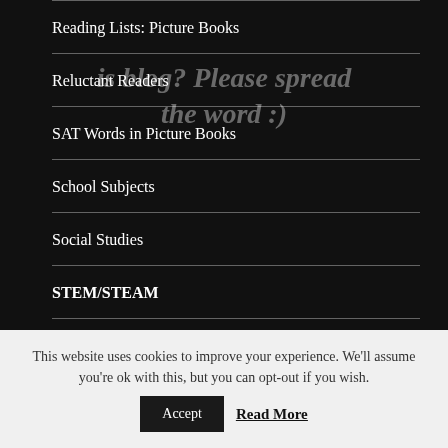Reading Lists: Picture Books
Reluctant Readers
SAT Words in Picture Books
School Subjects
Social Studies
STEM/STEAM
Sumo Joe
Teaching Kids Foreign Languages at Home
This website uses cookies to improve your experience. We'll assume you're ok with this, but you can opt-out if you wish.
Accept
Read More